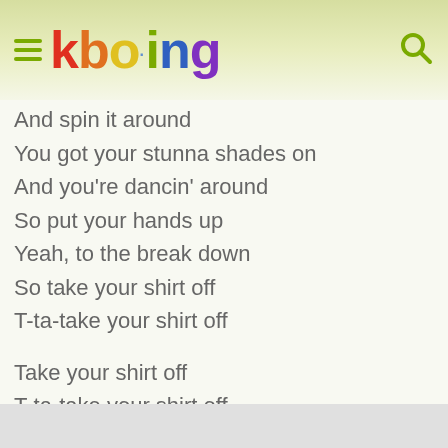[Figure (logo): Kboing colorful logo with hamburger menu icon on left and search icon on right, on a light yellow-green gradient header background]
And spin it around
You got your stunna shades on
And you're dancin' around
So put your hands up
Yeah, to the break down
So take your shirt off
T-ta-take your shirt off
Take your shirt off
T-ta-take your shirt off
Take your shirt off
T-ta-take your shirt off